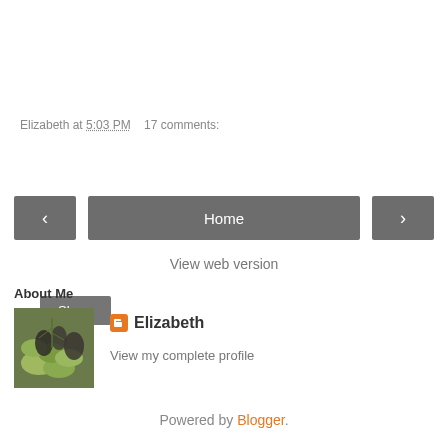Elizabeth at 5:03 PM    17 comments:
Share
‹  Home  ›
View web version
About Me
[Figure (photo): Profile photo of Elizabeth showing green fruits/vegetables with dark leaves]
Elizabeth
View my complete profile
Powered by Blogger.